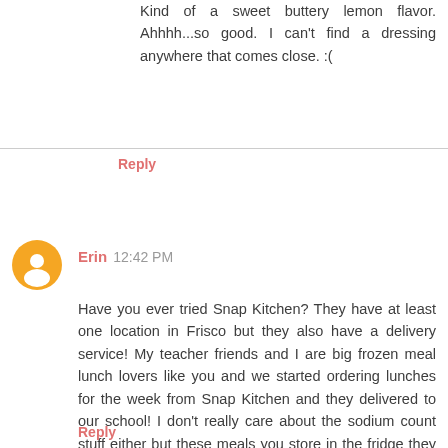Kind of a sweet buttery lemon flavor. Ahhhh...so good. I can't find a dressing anywhere that comes close. :(
Reply
Erin 12:42 PM
Have you ever tried Snap Kitchen? They have at least one location in Frisco but they also have a delivery service! My teacher friends and I are big frozen meal lunch lovers like you and we started ordering lunches for the week from Snap Kitchen and they delivered to our school! I don't really care about the sodium count stuff either but these meals you store in the fridge they are good, filling and supposed to have less of the preservatives etc! They also have an app to make ordering even easier. I promise I don't work for them but I probably should haha!
Reply